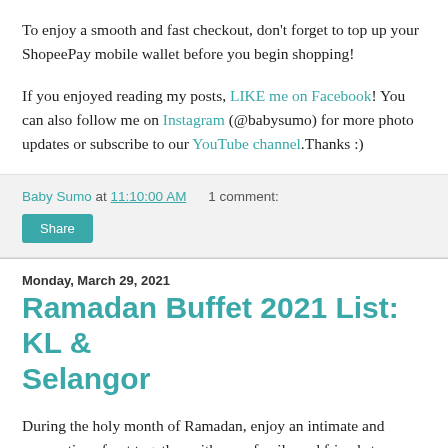To enjoy a smooth and fast checkout, don't forget to top up your ShopeePay mobile wallet before you begin shopping!
If you enjoyed reading my posts, LIKE me on Facebook! You can also follow me on Instagram (@babysumo) for more photo updates or subscribe to our YouTube channel.Thanks :)
Baby Sumo at 11:10:00 AM   1 comment:
Share
Monday, March 29, 2021
Ramadan Buffet 2021 List: KL & Selangor
During the holy month of Ramadan, enjoy an intimate and scrumptious feast together with your family and friends to